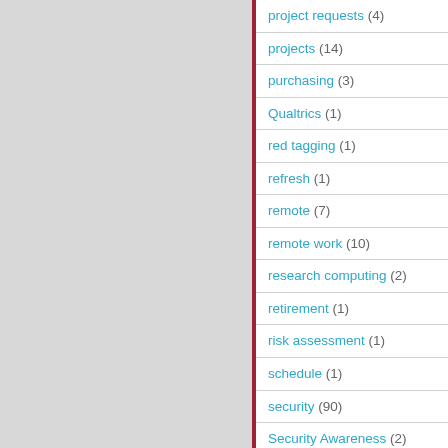project requests (4)
projects (14)
purchasing (3)
Qualtrics (1)
red tagging (1)
refresh (1)
remote (7)
remote work (10)
research computing (2)
retirement (1)
risk assessment (1)
schedule (1)
security (90)
Security Awareness (2)
self-service (2)
service (7)
service management (2)